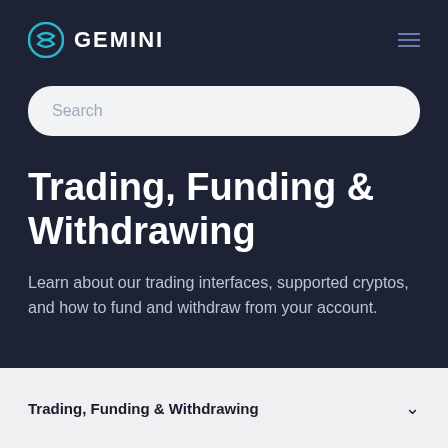[Figure (logo): Gemini logo with teal circular icon and white GEMINI text]
Search
Trading, Funding & Withdrawing
Learn about our trading interfaces, supported cryptos, and how to fund and withdraw from your account.
Trading, Funding & Withdrawing